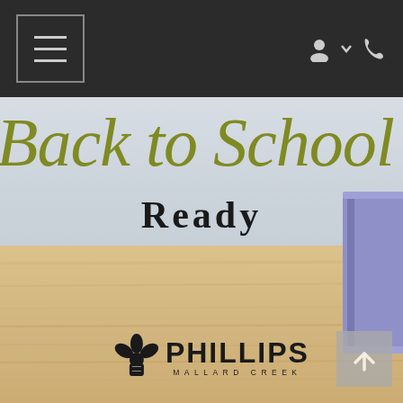Navigation bar with hamburger menu, user icon, and phone icon
[Figure (screenshot): Back to school promotional hero image showing wooden desk surface with a partial purple binder/book on right side, light blue-gray wall background]
Back to School
Ready
[Figure (logo): Phillips Mallard Creek logo with stylized flower/crown icon and bold PHILLIPS text with MALLARD CREEK subtitle]